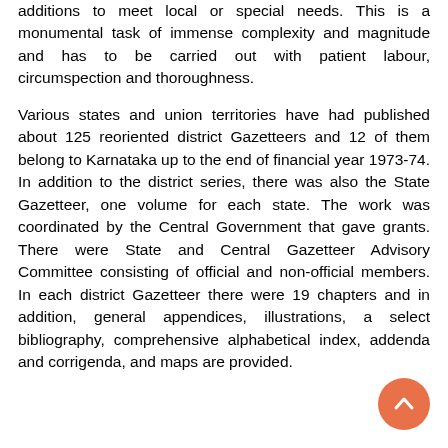additions to meet local or special needs. This is a monumental task of immense complexity and magnitude and has to be carried out with patient labour, circumspection and thoroughness.
Various states and union territories have had published about 125 reoriented district Gazetteers and 12 of them belong to Karnataka up to the end of financial year 1973-74. In addition to the district series, there was also the State Gazetteer, one volume for each state. The work was coordinated by the Central Government that gave grants. There were State and Central Gazetteer Advisory Committee consisting of official and non-official members. In each district Gazetteer there were 19 chapters and in addition, general appendices, illustrations, a select bibliography, comprehensive alphabetical index, addenda and corrigenda, and maps are provided.